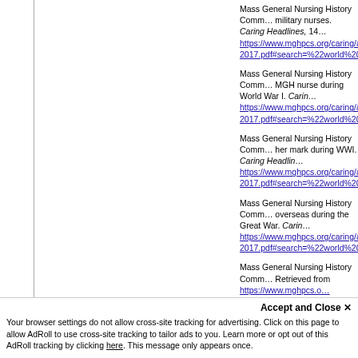Mass General Nursing History Comm… military nurses. Caring Headlines, 14… https://www.mghpcs.org/caring/assets… 2017.pdf#search=%22world%20war%…
Mass General Nursing History Comm… MGH nurse during World War I. Carin… https://www.mghpcs.org/caring/assets… 2017.pdf#search=%22world%20war%…
Mass General Nursing History Comm… her mark during WWI. Caring Headlin… https://www.mghpcs.org/caring/assets… 2017.pdf#search=%22world%20war%…
Mass General Nursing History Comm… overseas during the Great War. Carin… https://www.mghpcs.org/caring/assets… 2017.pdf#search=%22world%20war%…
Mass General Nursing History Comm… Retrieved from https://www.mghpcs.o… 2017.pdf#search=%22world%20war%…
Mass General Nursing History Comm…
Accept and Close ✕
Your browser settings do not allow cross-site tracking for advertising. Click on this page to allow AdRoll to use cross-site tracking to tailor ads to you. Learn more or opt out of this AdRoll tracking by clicking here. This message only appears once.